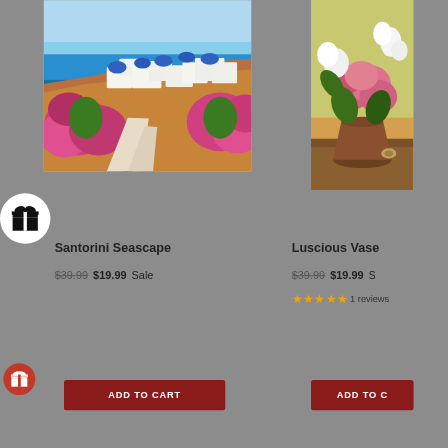[Figure (screenshot): E-commerce product listing page showing two paint-by-number art kits. Left product: Santorini Seascape painting showing Greek island with blue domes, flowers, and sea. Right product: Luscious Vase painting showing flowers in a vase. Both products show original price $39.99, sale price $19.99. The right product shows 1 review with star rating. Both have Add to Cart buttons. A white circle with gift box icon overlays the left side, and a red circle with gift box icon appears at bottom left.]
Santorini Seascape
$39.99  $19.99 Sale
Luscious Vase
$39.99  $19.99
1 reviews
ADD TO CART
ADD TO C